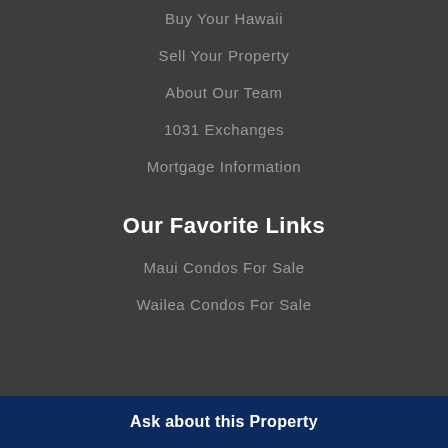Buy Your Hawaii
Sell Your Property
About Our Team
1031 Exchanges
Mortgage Information
Our Favorite Links
Maui Condos For Sale
Wailea Condos For Sale
Ask about this Property